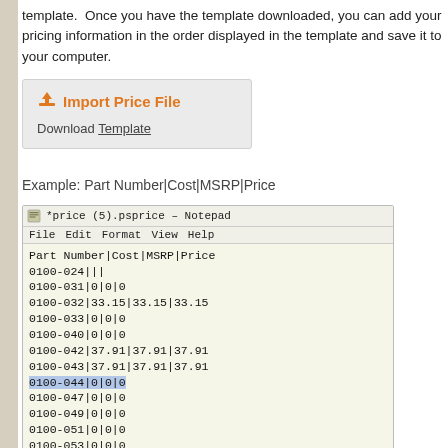template. Once you have the template downloaded, you can add your pricing information in the order displayed in the template and save it to your computer.
[Figure (screenshot): Import Price File button box with upload icon and Download Template link]
Example: Part Number|Cost|MSRP|Price
[Figure (screenshot): Notepad window showing price file content: Part Number|Cost|MSRP|Price header and rows like 0100-024|||, 0100-031|0|0|0, 0100-032|33.15|33.15|33.15, 0100-033|0|0|0, 0100-040|0|0|0, 0100-042|37.91|37.91|37.91, 0100-043|37.91|37.91|37.91, 0100-044|0|0|0, 0100-047|0|0|0, 0100-049|0|0|0, 0100-051|0|0|0, 0100-053|0|0|0]